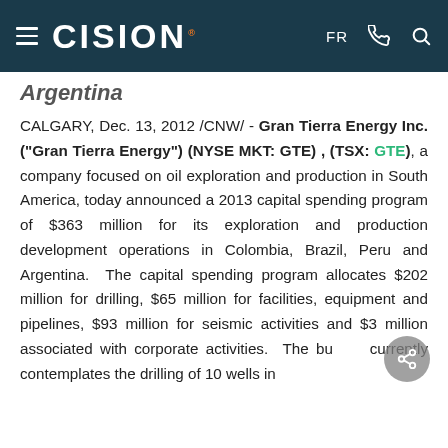CISION
Argentina
CALGARY, Dec. 13, 2012 /CNW/ - Gran Tierra Energy Inc. ("Gran Tierra Energy") (NYSE MKT: GTE) , (TSX: GTE), a company focused on oil exploration and production in South America, today announced a 2013 capital spending program of $363 million for its exploration and production development operations in Colombia, Brazil, Peru and Argentina.  The capital spending program allocates $202 million for drilling, $65 million for facilities, equipment and pipelines, $93 million for seismic activities and $3 million associated with corporate activities.  The budget currently contemplates the drilling of 10 wells in